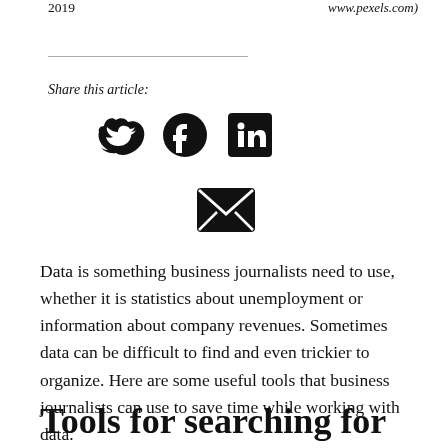2019
www.pexels.com)
Share this article:
[Figure (infographic): Social media share icons: Twitter bird, Facebook circle, LinkedIn square, and email envelope]
Data is something business journalists need to use, whether it is statistics about unemployment or information about company revenues. Sometimes data can be difficult to find and even trickier to organize. Here are some useful tools that business journalists can use to save time while working with data.
Tools for searching for data